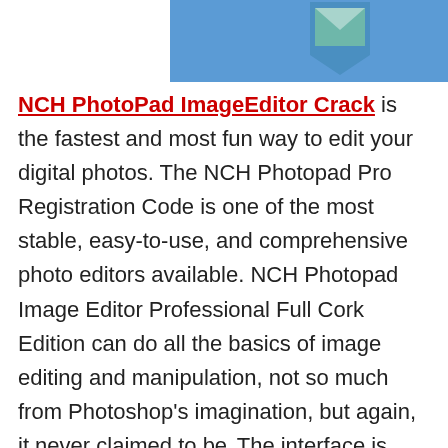[Figure (illustration): Partial view of NCH PhotoPad software logo/banner with blue background and a photo icon in the upper portion of the page]
NCH PhotoPad ImageEditor Crack is the fastest and most fun way to edit your digital photos. The NCH Photopad Pro Registration Code is one of the most stable, easy-to-use, and comprehensive photo editors available. NCH Photopad Image Editor Professional Full Cork Edition can do all the basics of image editing and manipulation, not so much from Photoshop's imagination, but again, it never claimed to be. The interface is clear, with self-explanatory icons located in the main toolbar in the main editing window. It has all the basic editing tools within reach and allows you to apply some skill effects without special knowledge etc.